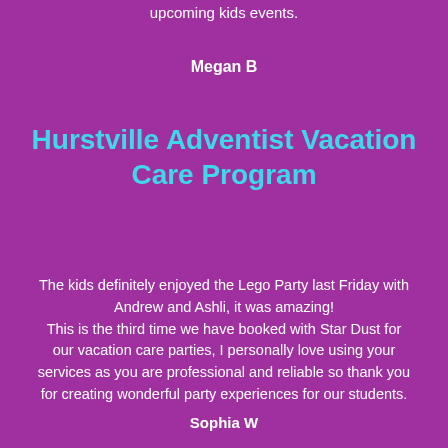upcoming kids events.
Megan B
Hurstville Adventist Vacation Care Program
The kids definitely enjoyed the Lego Party last Friday with Andrew and Ashli, it was amazing! This is the third time we have booked with Star Dust for our vacation care parties, I personally love using your services as you are professional and reliable so thank you for creating wonderful party experiences for our students.
Sophia W